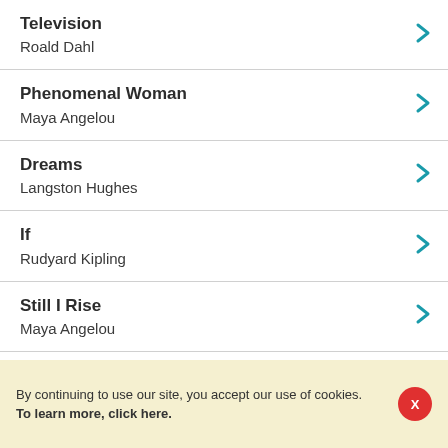Television
Roald Dahl
Phenomenal Woman
Maya Angelou
Dreams
Langston Hughes
If
Rudyard Kipling
Still I Rise
Maya Angelou
See All Classical Poems
By continuing to use our site, you accept our use of cookies.
To learn more, click here.